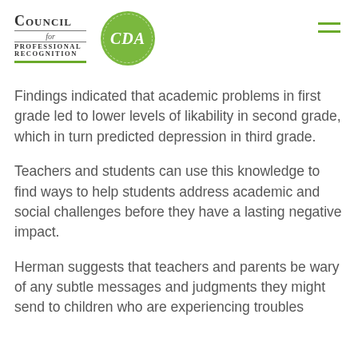Council for Professional Recognition CDA
Findings indicated that academic problems in first grade led to lower levels of likability in second grade, which in turn predicted depression in third grade.
Teachers and students can use this knowledge to find ways to help students address academic and social challenges before they have a lasting negative impact.
Herman suggests that teachers and parents be wary of any subtle messages and judgments they might send to children who are experiencing troubles